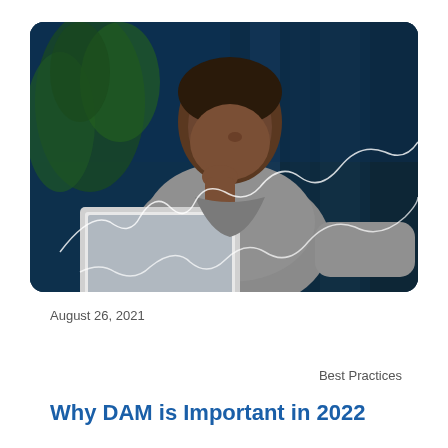[Figure (photo): A thoughtful Black man with hand on chin sitting in front of an open laptop, in a dark blue-tinted environment with plants in the background. White decorative curved lines overlay the image.]
August 26, 2021
Best Practices
Why DAM is Important in 2022